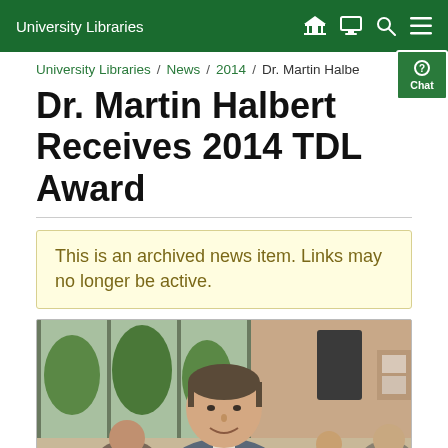University Libraries
University Libraries / News / 2014 / Dr. Martin Halbe...
Dr. Martin Halbert Receives 2014 TDL Award
This is an archived news item. Links may no longer be active.
[Figure (photo): Photo of Dr. Martin Halbert smiling at an event, with large windows showing trees in the background and other attendees visible.]